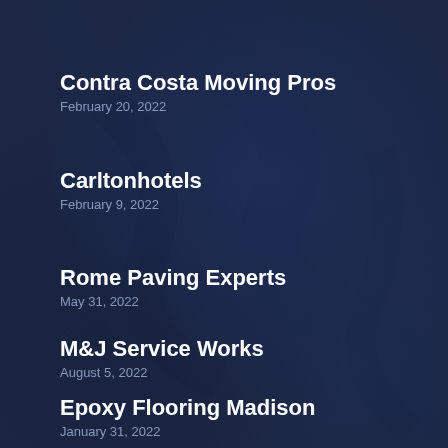Contra Costa Moving Pros
February 20, 2022
Carltonhotels
February 9, 2022
Rome Paving Experts
May 31, 2022
M&J Service Works
August 5, 2022
Epoxy Flooring Madison
January 31, 2022